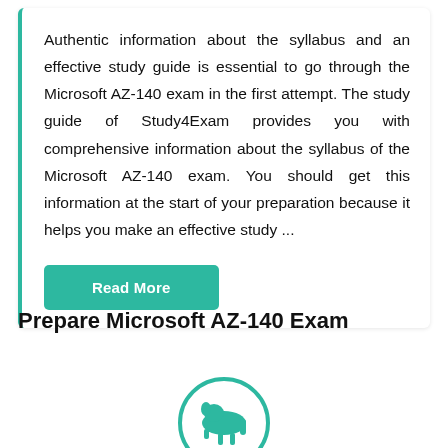Authentic information about the syllabus and an effective study guide is essential to go through the Microsoft AZ-140 exam in the first attempt. The study guide of Study4Exam provides you with comprehensive information about the syllabus of the Microsoft AZ-140 exam. You should get this information at the start of your preparation because it helps you make an effective study ...
Read More
Prepare Microsoft AZ-140 Exam
[Figure (illustration): Teal circular icon with a dog/animal silhouette inside, partially visible at bottom of page]